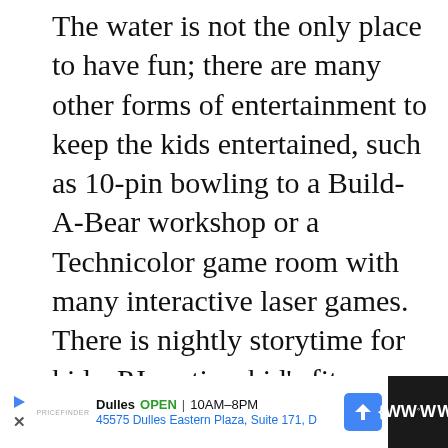The water is not the only place to have fun; there are many other forms of entertainment to keep the kids entertained, such as 10-pin bowling to a Build-A-Bear workshop or a Technicolor game room with many interactive laser games. There is nightly storytime for kids, PJ parties, kid's fitness offerings, yoga trails, and arts and crafts for those who stay overnight.
[Figure (other): A circular scroll-to-top button with an upward arrow, gray border on white background]
[Figure (other): Advertisement bar at bottom: Dulles store, OPEN 10AM-8PM, 45575 Dulles Eastern Plaza Suite 171 D, with navigation arrow icon and WW logo on dark right panel]